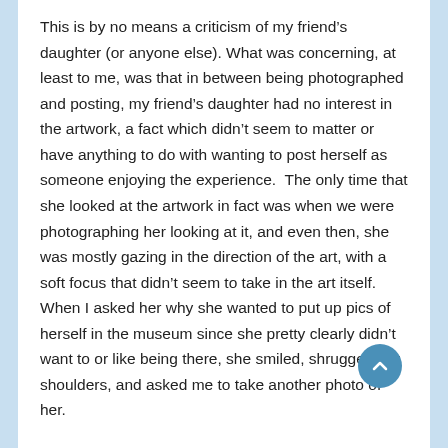This is by no means a criticism of my friend's daughter (or anyone else). What was concerning, at least to me, was that in between being photographed and posting, my friend's daughter had no interest in the artwork, a fact which didn't seem to matter or have anything to do with wanting to post herself as someone enjoying the experience.  The only time that she looked at the artwork in fact was when we were photographing her looking at it, and even then, she was mostly gazing in the direction of the art, with a soft focus that didn't seem to take in the art itself.  When I asked her why she wanted to put up pics of herself in the museum since she pretty clearly didn't want to or like being there, she smiled, shrugged her shoulders, and asked me to take another photo of her.
Now when I was her age, I had no interest in going to